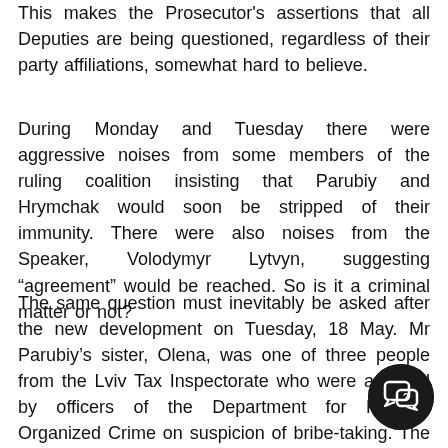This makes the Prosecutor's assertions that all Deputies are being questioned, regardless of their party affiliations, somewhat hard to believe.
During Monday and Tuesday there were aggressive noises from some members of the ruling coalition insisting that Parubiy and Hrymchak would soon be stripped of their immunity. There were also noises from the Speaker, Volodymyr Lytvyn, suggesting “agreement” would be reached. So is it a criminal matter or not?
The same question must inevitably be asked after the new development on Tuesday, 18 May. Mr Parubiy’s sister, Olena, was one of three people from the Lviv Tax Inspectorate who were arrested by officers of the Department for Fighting Organized Crime on suspicion of bribe-taking. The media reports, presumably circulated by those in authority, said that she ha caught “red-handed”.